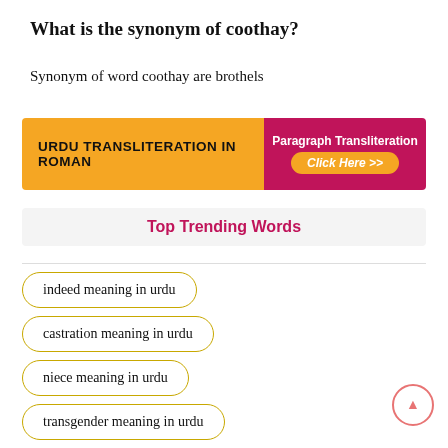What is the synonym of coothay?
Synonym of word coothay are brothels
[Figure (infographic): Banner with orange left panel labeled 'Urdu Transliteration in Roman' and crimson right panel with 'Paragraph Transliteration' and 'Click Here >>' button]
Top Trending Words
indeed meaning in urdu
castration meaning in urdu
niece meaning in urdu
transgender meaning in urdu